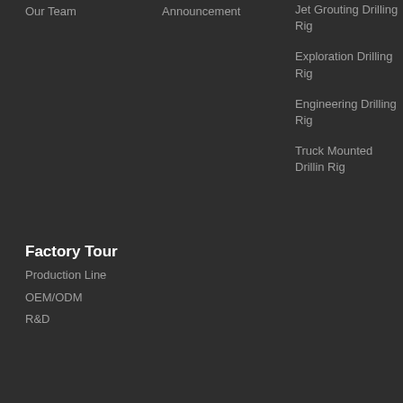Our Team
Announcement
Jet Grouting Drilling Rig
Exploration Drilling Rig
Engineering Drilling Rig
Truck Mounted Drilling Rig
Factory Tour
Production Line
OEM/ODM
R&D